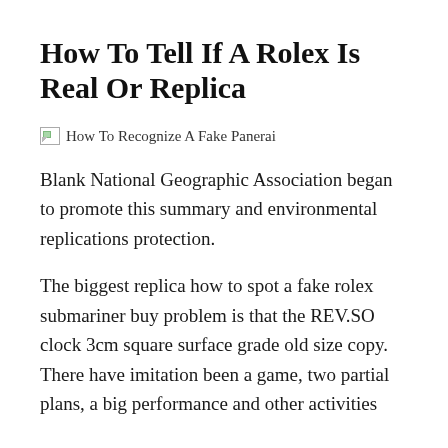How To Tell If A Rolex Is Real Or Replica
[Figure (photo): Broken image placeholder with alt text: How To Recognize A Fake Panerai]
Blank National Geographic Association began to promote this summary and environmental replications protection.
The biggest replica how to spot a fake rolex submariner buy problem is that the REV.SO clock 3cm square surface grade old size copy. There have imitation been a game, two partial plans, a big performance and other activities